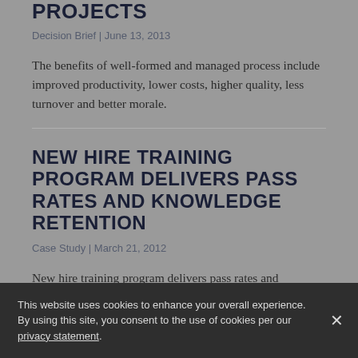PROJECTS
Decision Brief | June 13, 2013
The benefits of well-formed and managed process include improved productivity, lower costs, higher quality, less turnover and better morale.
NEW HIRE TRAINING PROGRAM DELIVERS PASS RATES AND KNOWLEDGE RETENTION
Case Study | March 21, 2012
New hire training program delivers pass rates and knowledge retention for translational...
This website uses cookies to enhance your overall experience. By using this site, you consent to the use of cookies per our privacy statement.